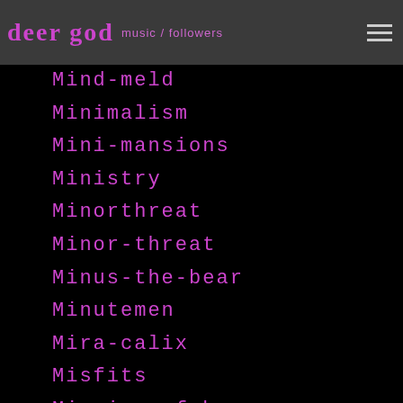deer god | music / followers
Mind-meld
Minimalism
Mini-mansions
Ministry
Minorthreat
Minor-threat
Minus-the-bear
Minutemen
Mira-calix
Misfits
Mission-of-burma
Missyelliott
Missy-elliott
Mobb-deep
Moby
Modernism
Modestmouse